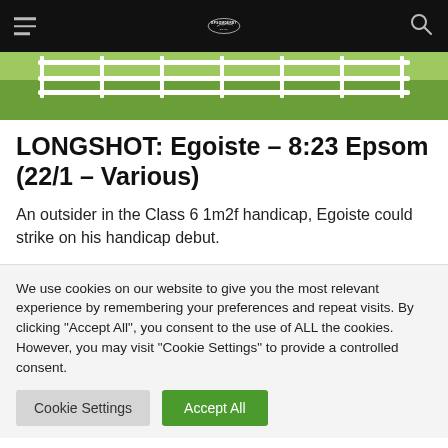EPSOM DERBY
[Figure (photo): Partial view of a horse racing track with white fence rails and green grass]
LONGSHOT: Egoiste – 8:23 Epsom (22/1 – Various)
An outsider in the Class 6 1m2f handicap, Egoiste could strike on his handicap debut.
We use cookies on our website to give you the most relevant experience by remembering your preferences and repeat visits. By clicking "Accept All", you consent to the use of ALL the cookies. However, you may visit "Cookie Settings" to provide a controlled consent.